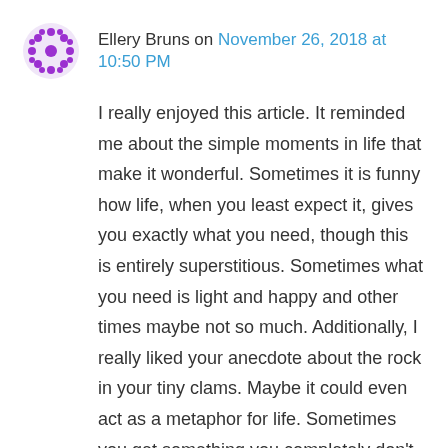Ellery Bruns on November 26, 2018 at 10:50 PM
I really enjoyed this article. It reminded me about the simple moments in life that make it wonderful. Sometimes it is funny how life, when you least expect it, gives you exactly what you need, though this is entirely superstitious. Sometimes what you need is light and happy and other times maybe not so much. Additionally, I really liked your anecdote about the rock in your tiny clams. Maybe it could even act as a metaphor for life. Sometimes you get something you completely don't expect and it can be a happy and fun moment if you are willing to accept the change. Thank you for sharing!